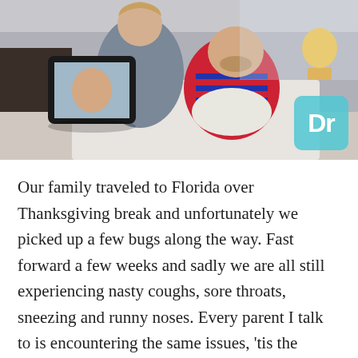[Figure (photo): An adult holding a tablet showing a video call, with a young child in a striped shirt looking down at something, sitting together indoors. A teal/cyan logo with 'Dr' text appears in the bottom-right corner of the photo.]
Our family traveled to Florida over Thanksgiving break and unfortunately we picked up a few bugs along the way. Fast forward a few weeks and sadly we are all still experiencing nasty coughs, sore throats, sneezing and runny noses. Every parent I talk to is encountering the same issues, 'tis the season of combating colds! I am quite a germaphobe and avoid bringing the kids to the doctors unless it is absolutely necessary. I will literally spend the entire trip at the doctors trying